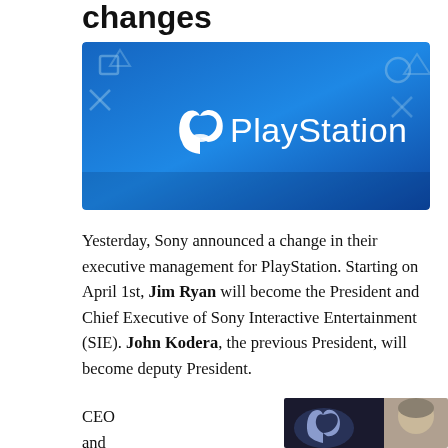changes
[Figure (logo): PlayStation logo banner — blue gradient background with PlayStation controller symbols (square, X, circle, triangle) and the PlayStation wordmark with the PS logo in white.]
Yesterday, Sony announced a change in their executive management for PlayStation. Starting on April 1st, Jim Ryan will become the President and Chief Executive of Sony Interactive Entertainment (SIE). John Kodera, the previous President, will become deputy President.
[Figure (photo): Photo of a man (partially visible) in front of a PlayStation logo display, partially cropped at bottom of page.]
CEO and